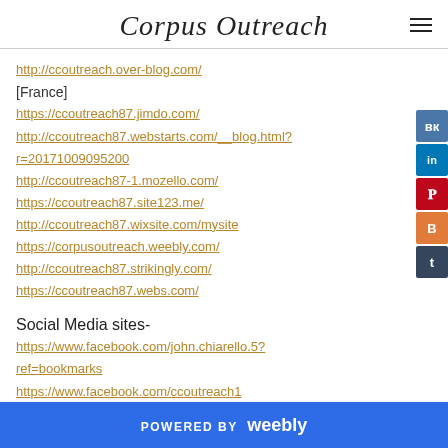Corpus Outreach
http://ccoutreach.over-blog.com/ [France]
https://ccoutreach87.jimdo.com/
http://ccoutreach87.webstarts.com/__blog.html?r=20171009095200
http://ccoutreach87-1.mozello.com/
https://ccoutreach87.site123.me/
http://ccoutreach87.wixsite.com/mysite
https://corpusoutreach.weebly.com/
http://ccoutreach87.strikingly.com/
https://ccoutreach87.webs.com/
Social Media sites-
https://www.facebook.com/john.chiarello.5?ref=bookmarks
https://www.facebook.com/ccoutreach1
POWERED BY weebly